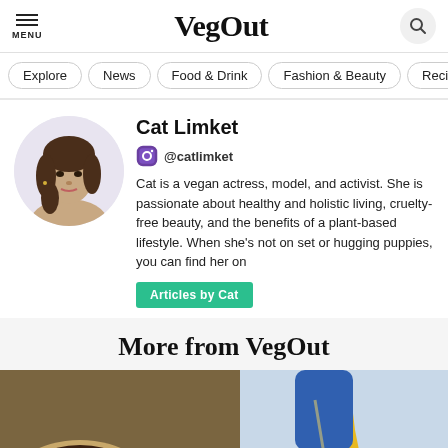VegOut
Explore
News
Food & Drink
Fashion & Beauty
Recipes
Cat Limket
@catlimket
Cat is a vegan actress, model, and activist. She is passionate about healthy and holistic living, cruelty-free beauty, and the benefits of a plant-based lifestyle. When she's not on set or hugging puppies, you can find her on
Articles by Cat
More from VegOut
[Figure (photo): Food photo showing vegan burritos filled with black beans, vegetables, and toppings]
[Figure (photo): Fashion photo showing yellow boots with blue pants against a light background]